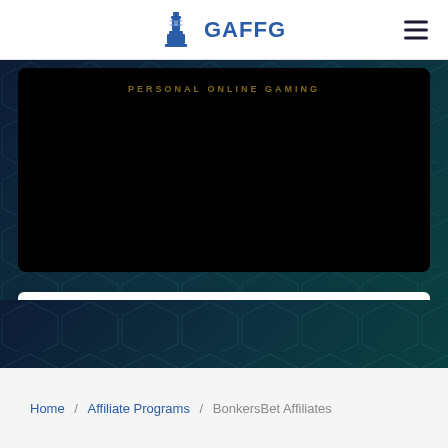GAFFG
[Figure (screenshot): Dark gaming-themed video preview panel showing text 'PERSONAL ONLINE GAMING' in gold letters on a black background, with hexagonal teal/dark pattern background]
Join Now
Home / Affiliate Programs / BonkersBet Affiliates